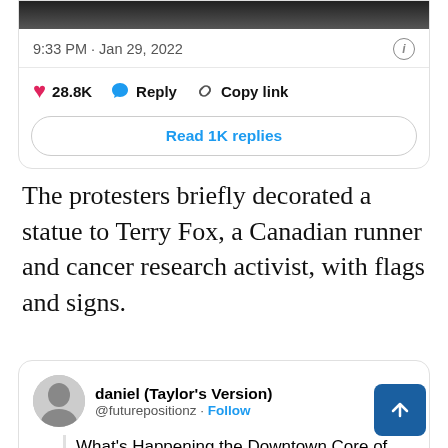[Figure (screenshot): Partial tweet card showing timestamp 9:33 PM · Jan 29, 2022, like count 28.8K, Reply, Copy link buttons, and Read 1K replies button]
The protesters briefly decorated a statue to Terry Fox, a Canadian runner and cancer research activist, with flags and signs.
[Figure (screenshot): Tweet by daniel (Taylor's Version) @futurepositionz with Follow link and Twitter bird icon. Tweet text: What's Happening the Downtown Core of Ottawa: - Truckers Honking and Fireworks, disturbing local Businesses and (truncated)]